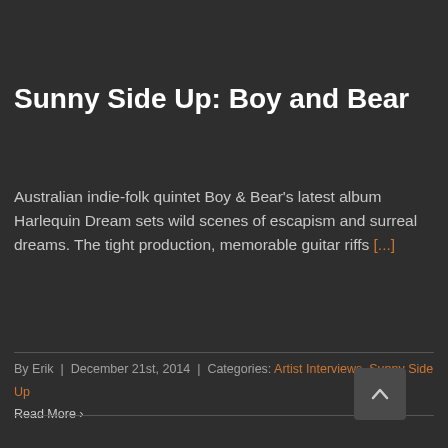Sunny Side Up: Boy and Bear
Australian indie-folk quintet Boy & Bear's latest album Harlequin Dream sets wild scenes of escapism and surreal dreams. The tight production, memorable guitar riffs [...]
By Erik | December 21st, 2014 | Categories: Artist Interviews, Sunny Side Up
Read More ›